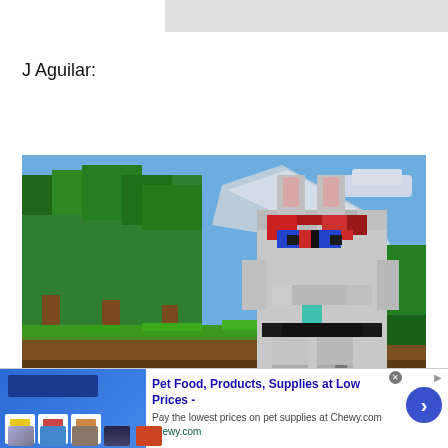J Aguilar:
[Figure (screenshot): A Minecraft screenshot showing a large pixelated rabbit character built from white/gray blocks with red eyes and blue accents, standing in a green landscape with trees and dirt terrain. Health bar hearts visible at bottom.]
[Figure (screenshot): Advertisement banner for Chewy.com: Pet Food, Products, Supplies at Low Prices - Pay the lowest prices on pet supplies at Chewy.com. Blue arrow button on right.]